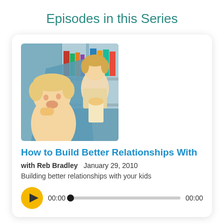Episodes in this Series
[Figure (photo): Two children, one younger boy and one older, interacting near a bookshelf with blue background]
How to Build Better Relationships With
with Reb Bradley   January 29, 2010
Building better relationships with your kids
00:00   00:00